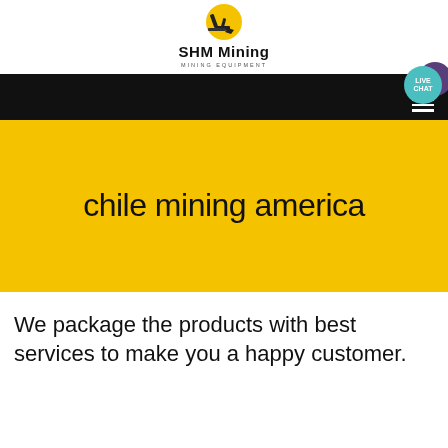[Figure (logo): SHM Mining logo with yellow excavator icon, bold text 'SHM Mining' and subtitle 'MINING EQUIPMENT']
[Figure (screenshot): Black navigation bar with teal 'LIVE CHAT' circle bubble and purple chat icon, hamburger menu icon on right]
chile mining america
We package the products with best services to make you a happy customer.